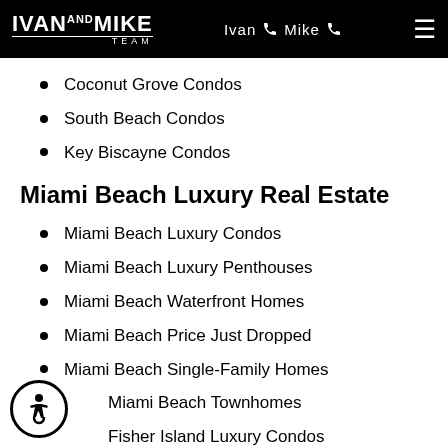Ivan and Mike Team — Ivan [phone] Mike [phone]
Coconut Grove Condos
South Beach Condos
Key Biscayne Condos
Miami Beach Luxury Real Estate
Miami Beach Luxury Condos
Miami Beach Luxury Penthouses
Miami Beach Waterfront Homes
Miami Beach Price Just Dropped
Miami Beach Single-Family Homes
Miami Beach Townhomes
Fisher Island Luxury Condos